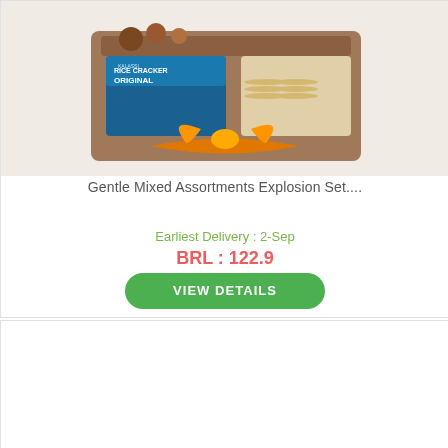[Figure (photo): Gift basket with rice crackers (Kalassi brand), chocolates, and other snacks, decorated with an orange ribbon bow.]
Gentle Mixed Assortments Explosion Set....
Earliest Delivery : 2-Sep
BRL : 122.9
VIEW DETAILS
[Figure (photo): Wicker picnic basket with wine bottle, juice box, snacks, and holiday decorations including pine branches and gold ornaments.]